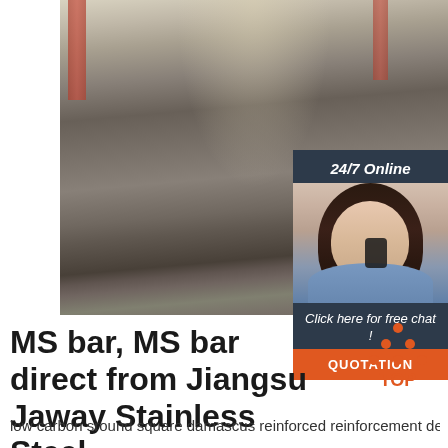[Figure (photo): Stacked steel plates/sheets in a warehouse with red support pillars visible in the background and overhead lighting]
[Figure (infographic): 24/7 Online chat widget with female customer service agent wearing headset, 'Click here for free chat!' text, and orange QUOTATION button]
MS bar, MS bar direct from Jiangsu Jaway Stainless Steel ...
[Figure (logo): TOP navigation icon with upward-pointing triangle made of orange dots and 'TOP' text in orange]
low carbon sround square damascus reinforced reinforcement deformed st... Min.Order: 1 Ton